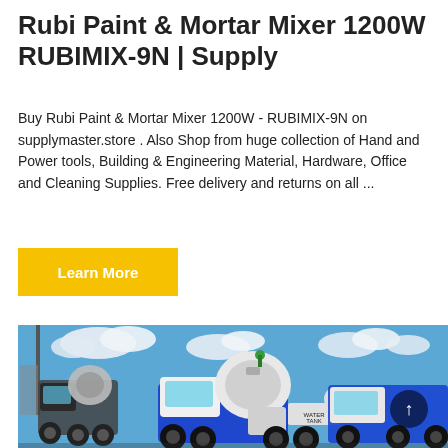Rubi Paint & Mortar Mixer 1200W RUBIMIX-9N | Supply
Buy Rubi Paint & Mortar Mixer 1200W - RUBIMIX-9N on supplymaster.store . Also Shop from huge collection of Hand and Power tools, Building & Engineering Material, Hardware, Office and Cleaning Supplies. Free delivery and returns on all ...
Learn More
[Figure (photo): Blue and white self-loading concrete mixer trucks parked outdoors under a partly cloudy blue sky, with a water tank visible on the nearest vehicle.]